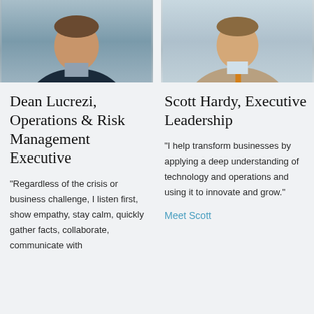[Figure (photo): Headshot photo of Dean Lucrezi, man in dark suit jacket]
[Figure (photo): Headshot photo of Scott Hardy, man in tan/beige suit with orange tie]
Dean Lucrezi, Operations & Risk Management Executive
Scott Hardy, Executive Leadership
“Regardless of the crisis or business challenge, I listen first, show empathy, stay calm, quickly gather facts, collaborate, communicate with
“I help transform businesses by applying a deep understanding of technology and operations and using it to innovate and grow.”
Meet Scott